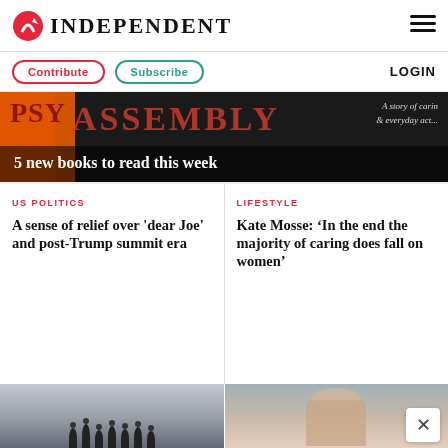INDEPENDENT
Contribute  Subscribe  LOGIN
[Figure (photo): Banner image showing ASSEMBLY text in red letters on orange/dark background with text 'A story of caring & everyday acts']
5 new books to read this week
US POLITICS
A sense of relief over 'dear Joe' and post-Trump summit era
LIFESTYLE
Kate Mosse: ‘In the end the majority of caring does fall on women’
[Figure (photo): Group of politicians/diplomats standing outdoors]
[Figure (photo): Portrait of Kate Mosse, blonde woman]